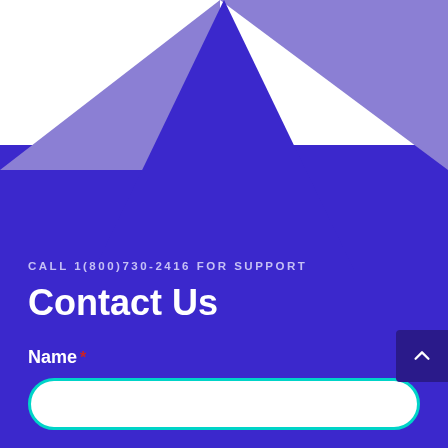[Figure (illustration): Decorative geometric background with white top area, two light-purple triangles on the left and right sides meeting at the top, and a dark-purple central downward-pointing triangle shape forming a diamond/chevron pattern]
CALL 1(800)730-2416 FOR SUPPORT
Contact Us
Name *
Email *